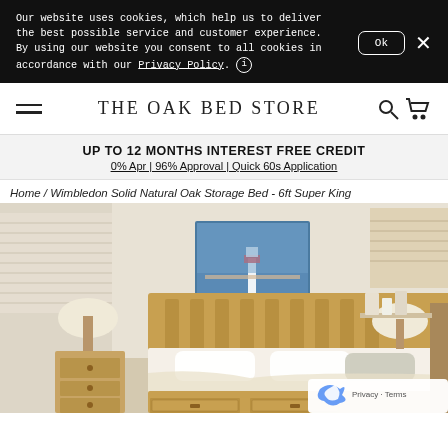Our website uses cookies, which help us to deliver the best possible service and customer experience. By using our website you consent to all cookies in accordance with our Privacy Policy.
THE OAK BED STORE
UP TO 12 MONTHS INTEREST FREE CREDIT
0% Apr | 96% Approval | Quick 60s Application
Home / Wimbledon Solid Natural Oak Storage Bed - 6ft Super King
[Figure (photo): Product photo of the Wimbledon Solid Natural Oak Storage Bed in a styled bedroom setting, showing the oak bed frame with under-bed storage drawers, white bedding, pillows, a bedside table with lamp, and a lighthouse artwork on the wall.]